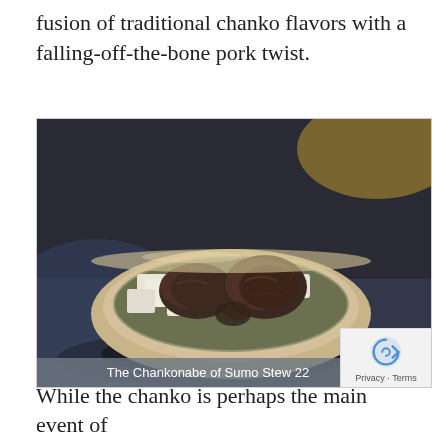fusion of traditional chanko flavors with a falling-off-the-bone pork twist.
[Figure (photo): A ceramic bowl filled with chankonabe stew containing dark braised meat pieces and white tofu cubes, sitting on a metallic surface with warm and cool background lighting. Caption bar reads: The Chankonabe of Sumo Stew 22]
The Chankonabe of Sumo Stew 22
While the chanko is perhaps the main event of